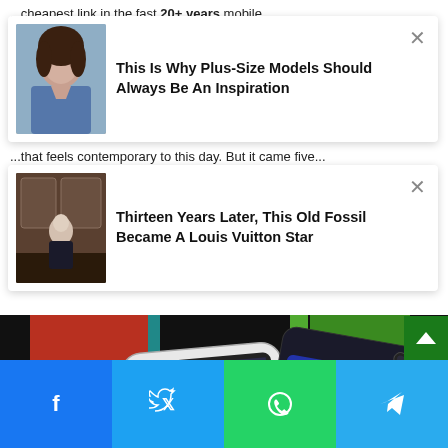...cheapest link in the fast 20+ years mobile...with the Zune (2006 to 2015). This was Microsoft's iPod competitor with a squishy body and a brilliant typographic interface that feels contemporary to this day. But it came five...
[Figure (other): Ad card with photo of a plus-size woman model in denim and title: This Is Why Plus-Size Models Should Always Be An Inspiration, with close X button]
[Figure (other): Ad card with photo of an older man seated in ornate room and title: Thirteen Years Later, This Old Fossil Became A Louis Vuitton Star, with close X button]
[Figure (photo): Photo of two Microsoft phones: a small QWERTY keyboard smartphone and a Lumia 650 smartphone, both displayed against colorful geometric background with red, green, cyan, and orange colors]
[Figure (other): Social media share bar with Facebook, Twitter, WhatsApp, and Telegram buttons]